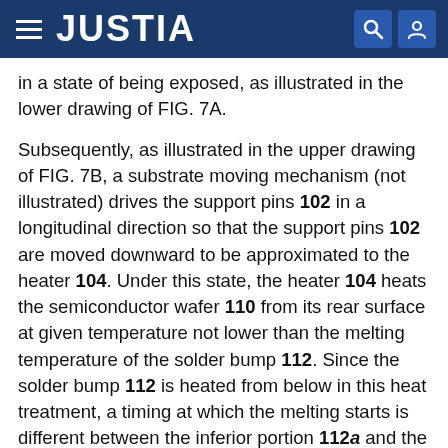JUSTIA
in a state of being exposed, as illustrated in the lower drawing of FIG. 7A.
Subsequently, as illustrated in the upper drawing of FIG. 7B, a substrate moving mechanism (not illustrated) drives the support pins 102 in a longitudinal direction so that the support pins 102 are moved downward to be approximated to the heater 104. Under this state, the heater 104 heats the semiconductor wafer 110 from its rear surface at given temperature not lower than the melting temperature of the solder bump 112. Since the solder bump 112 is heated from below in this heat treatment, a timing at which the melting starts is different between the inferior portion 112a and the superior portion 112b of the solder bump 112, and the melting is precedently started from the inferior portion 112a.